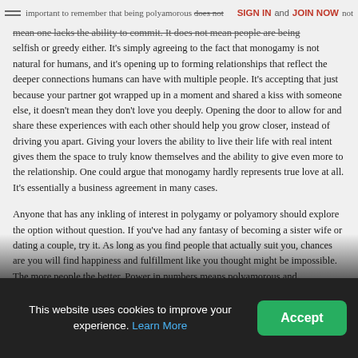important to remember that being polyamorous does not mean one lacks the ability to commit. SIGN IN and JOIN NOW not mean one lacks...
selfish or greedy either. It’s simply agreeing to the fact that monogamy is not natural for humans, and it’s opening up to forming relationships that reflect the deeper connections humans can have with multiple people. It’s accepting that just because your partner got wrapped up in a moment and shared a kiss with someone else, it doesn’t mean they don’t love you deeply. Opening the door to allow for and share these experiences with each other should help you grow closer, instead of driving you apart. Giving your lovers the ability to live their life with real intent gives them the space to truly know themselves and the ability to give even more to the relationship. One could argue that monogamy hardly represents true love at all. It’s essentially a business agreement in many cases.
Anyone that has any inkling of interest in polygamy or polyamory should explore the option without question. If you’ve had any fantasy of becoming a sister wife or dating a couple, try it. As long as you find people that actually suit you, chances are you will find happiness and fulfillment like you thought might be impossible. The more people the better. Power in numbers means polyamorous and polygamous people should be recruiting
This website uses cookies to improve your experience. Learn More
Accept